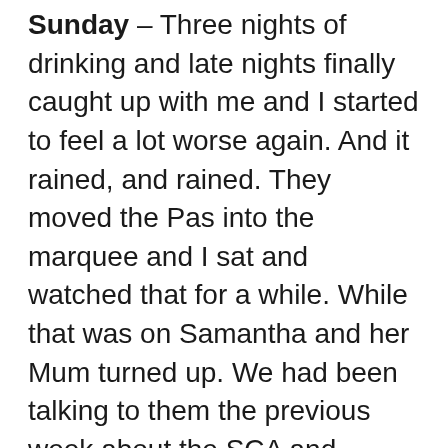Sunday – Three nights of drinking and late nights finally caught up with me and I started to feel a lot worse again. And it rained, and rained. They moved the Pas into the marquee and I sat and watched that for a while. While that was on Samantha and her Mum turned up. We had been talking to them the previous week about the SCA and Samantha had gone to fighter's practice and was really keen. Pity the weather was so bad for them. Then after lunch the market was held in the hall and Sigurd sold one knife but still has the big seax for sale. We both got an early night that night as Sigurd was also feeling a bit off.